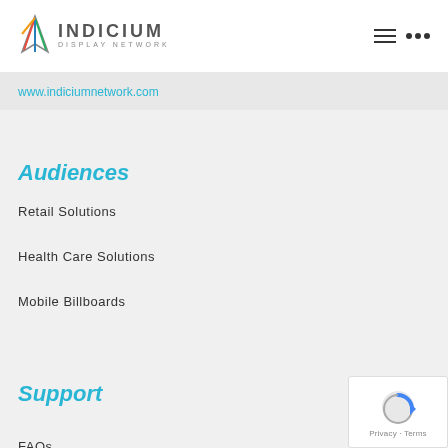INDICIUM DISPLAY NETWORK
www.indiciumnetwork.com
Audiences
Retail Solutions
Health Care Solutions
Mobile Billboards
Support
FAQs
Contact Us